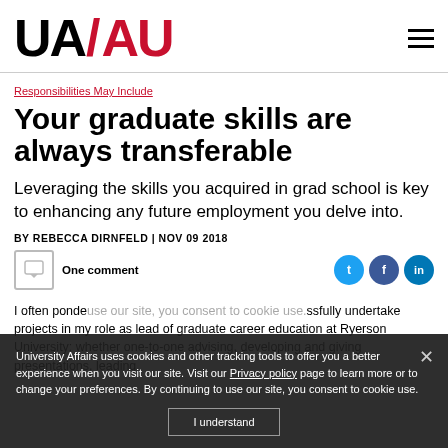UA/AU logo and navigation
Responsibilities May Include
Your graduate skills are always transferable
Leveraging the skills you acquired in grad school is key to enhancing any future employment you delve into.
BY REBECCA DIRNFELD | NOV 09 2018
One comment
I often ponder use our site, you consent to cookie use.ssfully undertake projects in my role as lead of graduate career education at Ryerson University: whether one-to-one advising, developing and giving presentations, leading
University Affairs uses cookies and other tracking tools to offer you a better experience when you visit our site. Visit our Privacy policy page to learn more or to change your preferences. By continuing to use our site, you consent to cookie use.